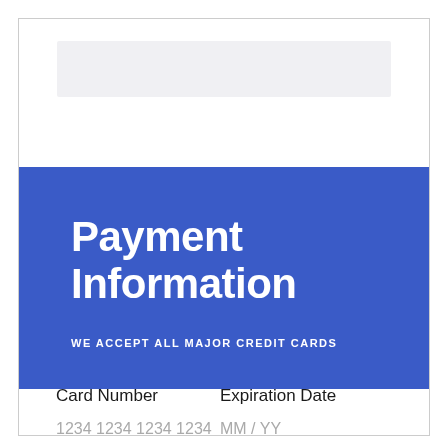[Figure (other): Gray placeholder bar at top of form]
Payment Information
WE ACCEPT ALL MAJOR CREDIT CARDS
Card Number
Expiration Date
1234 1234 1234 1234
MM / YY